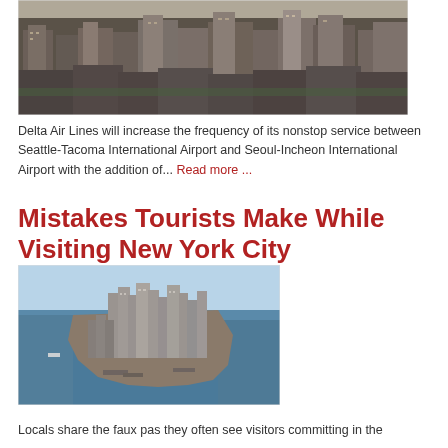[Figure (photo): Aerial view of a dense urban cityscape with tall buildings, likely Seoul or an Asian city]
Delta Air Lines will increase the frequency of its nonstop service between Seattle-Tacoma International Airport and Seoul-Incheon International Airport with the addition of... Read more ...
Mistakes Tourists Make While Visiting New York City
[Figure (photo): Aerial view of lower Manhattan, New York City, surrounded by water]
Locals share the faux pas they often see visitors committing in the